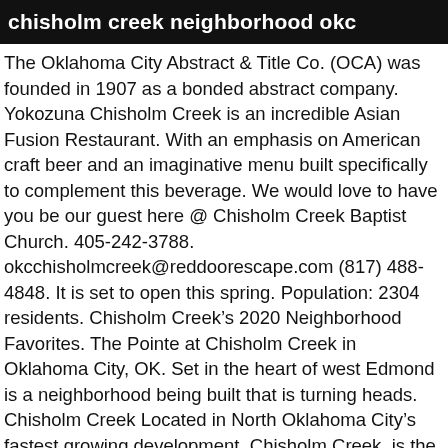chisholm creek neighborhood okc
The Oklahoma City Abstract & Title Co. (OCA) was founded in 1907 as a bonded abstract company. Yokozuna Chisholm Creek is an incredible Asian Fusion Restaurant. With an emphasis on American craft beer and an imaginative menu built specifically to complement this beverage. We would love to have you be our guest here @ Chisholm Creek Baptist Church. 405-242-3788. okcchisholmcreek@reddoorescape.com (817) 488-4848. It is set to open this spring. Population: 2304 residents. Chisholm Creek’s 2020 Neighborhood Favorites. The Pointe at Chisholm Creek in Oklahoma City, OK. Set in the heart of west Edmond is a neighborhood being built that is turning heads. Chisholm Creek Located in North Oklahoma City’s fastest growing development, Chisholm Creek, is the largest of our current Sidecar locations. For decades, Edmond has been one of the most popular places in the OKC metro – and one of the safest. 13230 Pawnee Dr., Suite 212 Oklahoma City, OK 73114. Join us every Tuesday, Wednesday & Thursday for Live Music on the Patio. Ground was